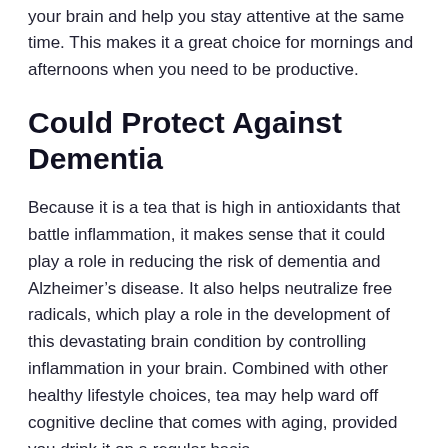your brain and help you stay attentive at the same time. This makes it a great choice for mornings and afternoons when you need to be productive.
Could Protect Against Dementia
Because it is a tea that is high in antioxidants that battle inflammation, it makes sense that it could play a role in reducing the risk of dementia and Alzheimer’s disease. It also helps neutralize free radicals, which play a role in the development of this devastating brain condition by controlling inflammation in your brain. Combined with other healthy lifestyle choices, tea may help ward off cognitive decline that comes with aging, provided you drink it on a regular basis.